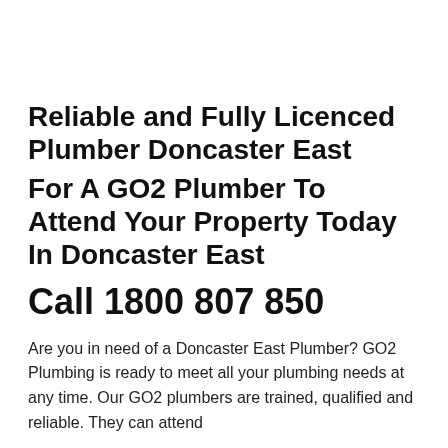Reliable and Fully Licenced Plumber Doncaster East
For A GO2 Plumber To Attend Your Property Today In Doncaster East
Call 1800 807 850
Are you in need of a Doncaster East Plumber? GO2 Plumbing is ready to meet all your plumbing needs at any time. Our GO2 plumbers are trained, qualified and reliable. They can attend